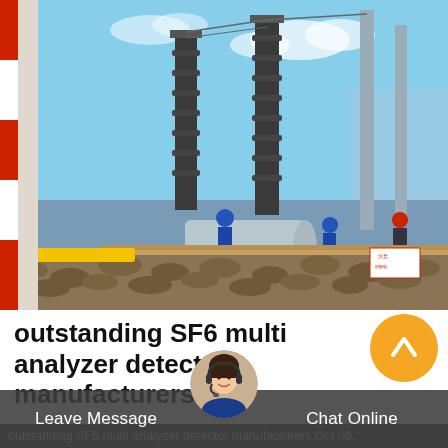[Figure (photo): Outdoor electrical substation construction site with tall porcelain insulators/bushings, workers in blue hard hats, cylindrical equipment, yellow and brown construction barriers with gravel fill, under blue sky.]
outstanding SF6 multi analyzer detector manufacturers
[Figure (photo): Customer service agent icon: circular orange button with white upward arrow/chevron symbol]
[Figure (photo): Female customer service agent headshot with headset microphone, circular crop]
Leave Message
Chat Online
outstanding SF6 multi analyzer detector manufacturers,Oct 06,